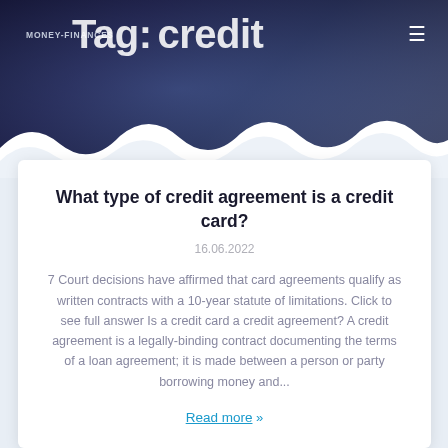MONEY-FINANCE$   Tag: credit
[Figure (illustration): Dark blue/purple background header with a decorative image overlay and wavy white bottom edge. Shows 'Tag: credit' text in large white letters overlapping with 'MONEY-FINANCE$' site logo.]
What type of credit agreement is a credit card?
16.06.2022
7 Court decisions have affirmed that card agreements qualify as written contracts with a 10-year statute of limitations. Click to see full answer Is a credit card a credit agreement? A credit agreement is a legally-binding contract documenting the terms of a loan agreement; it is made between a person or party borrowing money and...
Read more »